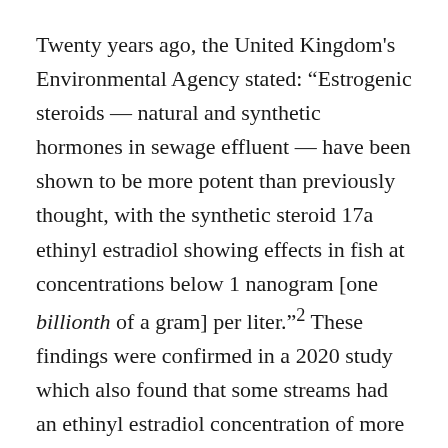Twenty years ago, the United Kingdom's Environmental Agency stated: "Estrogenic steroids — natural and synthetic hormones in sewage effluent — have been shown to be more potent than previously thought, with the synthetic steroid 17a ethinyl estradiol showing effects in fish at concentrations below 1 nanogram [one billionth of a gram] per liter."2 These findings were confirmed in a 2020 study which also found that some streams had an ethinyl estradiol concentration of more than 60 nanograms per liter, far beyond the limit that causes grave harm to fish populations.3 This means that the problem of hormonal pollution is longstanding and causing ever more severe environmental impacts with each generation of fish.